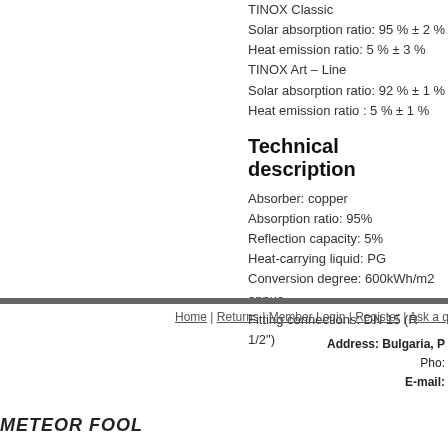TINOX Classic
Solar absorption ratio: 95 % ± 2 %
Heat emission ratio: 5 % ± 3 %
TINOX Art – Line
Solar absorption ratio: 92 % ± 1 %
Heat emission ratio : 5 % ± 1 %
Technical description
Absorber: copper
Absorption ratio: 95%
Reflection capacity: 5%
Heat-carrying liquid: PG
Conversion degree: 600kWh/m2 annua
Fitting connections: DN 15 (R 1/2")
Home | Returns | Member Login | Register | Ask a que
Address: Bulgaria, P
Pho:
E-mail:
METEOR FOOL